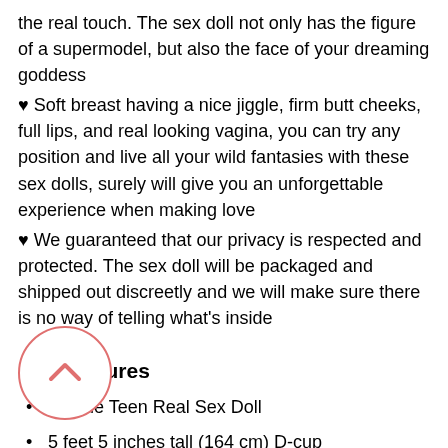♥ the real touch. The sex doll not only has the figure of a supermodel, but also the face of your dreaming goddess
♥ Soft breast having a nice jiggle, firm butt cheeks, full lips, and real looking vagina, you can try any position and live all your wild fantasies with these sex dolls, surely will give you an unforgettable experience when making love
♥ We guaranteed that our privacy is respected and protected. The sex doll will be packaged and shipped out discreetly and we will make sure there is no way of telling what's inside
Key Features
Blonde Teen Real Sex Doll
5 feet 5 inches tall (164 cm) D-cup
Vaginal, anal, and oral sex is possible
Steel skeleton with movable joints
Doll Measurements
Height: 5 ft 5 in. / 164 cm.